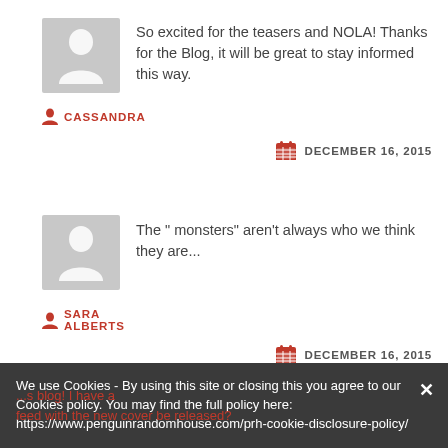[Figure (illustration): Grey avatar placeholder image with white person silhouette, first comment]
So excited for the teasers and NOLA! Thanks for the Blog, it will be great to stay informed this way.
CASSANDRA
DECEMBER 16, 2015
[Figure (illustration): Grey avatar placeholder image with white person silhouette, second comment]
The " monsters" aren't always who we think they are...
SARA ALBERTS
DECEMBER 16, 2015
We use Cookies - By using this site or closing this you agree to our Cookies policy. You may find the full policy here: https://www.penguinrandomhouse.com/prh-cookie-disclosure-policy/